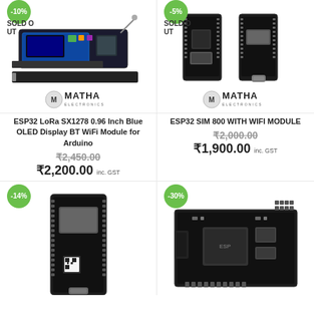[Figure (photo): ESP32 LoRa SX1278 0.96 Inch Blue OLED Display BT WiFi Module with discount badge -10%, SOLD OUT label, and Matha Electronics logo]
[Figure (photo): ESP32 SIM 800 WITH WIFI MODULE product image with discount badge -5%, SOLD OUT label, and Matha Electronics logo]
ESP32 LoRa SX1278 0.96 Inch Blue OLED Display BT WiFi Module for Arduino
ESP32 SIM 800 WITH WIFI MODULE
₹2,450.00 ₹2,200.00 inc. GST
₹2,000.00 ₹1,900.00 inc. GST
[Figure (photo): ESP32 development board product image with -14% discount badge]
[Figure (photo): ESP32 WiFi module board product image with -30% discount badge]